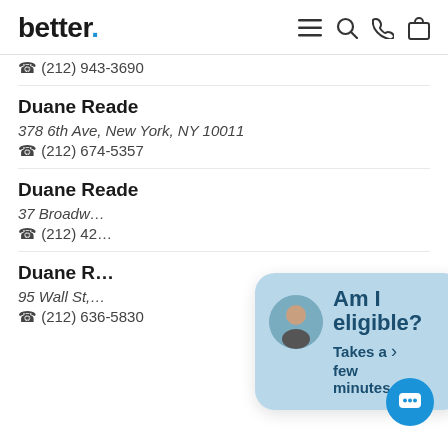better.
☎ (212) 943-3690
Duane Reade
378 6th Ave, New York, NY 10011
☎ (212) 674-5357
Duane Reade
37 Broadw…
☎ (212) 42…
Duane R…
95 Wall St,…
☎ (212) 636-5830
[Figure (other): Chat widget overlay with avatar and text 'Am I eligible? Takes a few minutes.' with a blue chat button in the bottom right corner.]